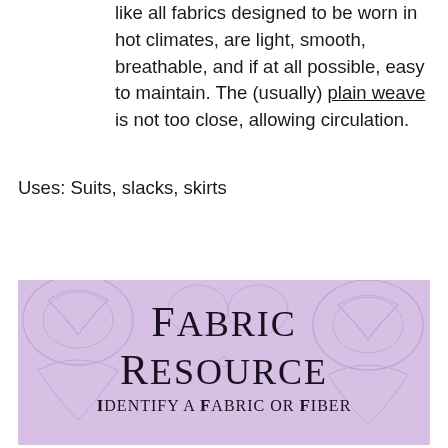like all fabrics designed to be worn in hot climates, are light, smooth, breathable, and if at all possible, easy to maintain. The (usually) plain weave is not too close, allowing circulation.
Uses: Suits, slacks, skirts
[Figure (illustration): Book cover image with lavender/purple background featuring decorative floral/nature etching patterns. Large serif text reads 'Fabric Resource' and smaller bold text reads 'Identify a Fabric or Fiber'.]